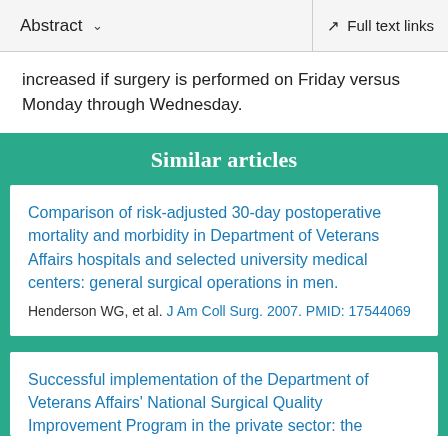Abstract  ∨    Full text links
increased if surgery is performed on Friday versus Monday through Wednesday.
Similar articles
Comparison of risk-adjusted 30-day postoperative mortality and morbidity in Department of Veterans Affairs hospitals and selected university medical centers: general surgical operations in men.
Henderson WG, et al. J Am Coll Surg. 2007. PMID: 17544069
Successful implementation of the Department of Veterans Affairs' National Surgical Quality Improvement Program in the private sector: the